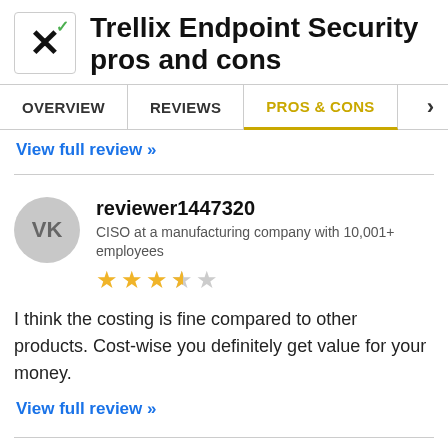Trellix Endpoint Security pros and cons
OVERVIEW | REVIEWS | PROS & CONS
View full review »
reviewer1447320
CISO at a manufacturing company with 10,001+ employees
3.5 stars
I think the costing is fine compared to other products. Cost-wise you definitely get value for your money.
View full review »
Milos Tolpa
IT Equipment Expert, ABC